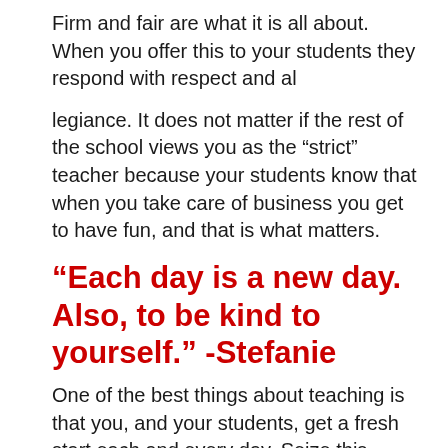Firm and fair are what it is all about. When you offer this to your students they respond with respect and al
legiance. It does not matter if the rest of the school views you as the “strict” teacher because your students know that when you take care of business you get to have fun, and that is what matters.
“Each day is a new day. Also, to be kind to yourself.” -Stefanie
One of the best things about teaching is that you, and your students, get a fresh start each and every day. Seize this opportunity and treat each day as a new chance to make a difference in the world.